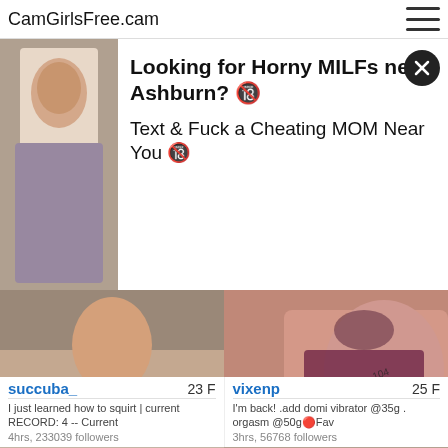CamGirlsFree.cam
Looking for Horny MILFs near Ashburn? 🔞
Text & Fuck a Cheating MOM Near You 🔞
[Figure (photo): Live cam thumbnail of succuba_, young woman, LIVE badge]
succuba_   23 F
I just learned how to squirt | current RECORD: 4 -- Current
4hrs, 233039 followers
[Figure (photo): Live cam thumbnail of vixenp, close-up lingerie shot, LIVE badge]
vixenp   25 F
I'm back! .add domi vibrator @35g . orgasm @50g🔴Fav
3hrs, 56768 followers
[Figure (photo): Cam thumbnail HD+, woman standing]
[Figure (photo): Cam thumbnail HD+, woman in pink top]